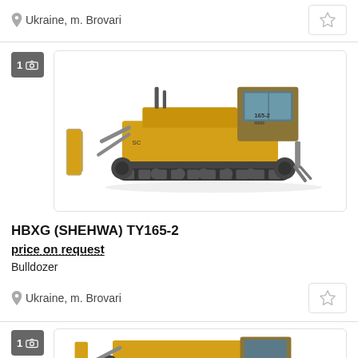Ukraine, m. Brovari
[Figure (photo): Yellow bulldozer HBXG (SHEHWA) TY165-2 on white background, side view showing tracks, cab, and blade]
HBXG (SHEHWA) TY165-2
price on request
Bulldozer
Ukraine, m. Brovari
[Figure (photo): Partial view of another yellow heavy construction machine, bottom of page]